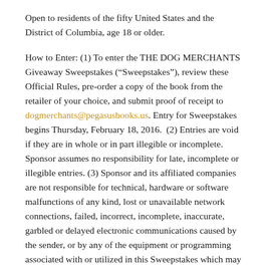Open to residents of the fifty United States and the District of Columbia, age 18 or older.
How to Enter: (1) To enter the THE DOG MERCHANTS Giveaway Sweepstakes (“Sweepstakes”), review these Official Rules, pre-order a copy of the book from the retailer of your choice, and submit proof of receipt to dogmerchants@pegasusbooks.us. Entry for Sweepstakes begins Thursday, February 18, 2016. (2) Entries are void if they are in whole or in part illegible or incomplete. Sponsor assumes no responsibility for late, incomplete or illegible entries. (3) Sponsor and its affiliated companies are not responsible for technical, hardware or software malfunctions of any kind, lost or unavailable network connections, failed, incorrect, incomplete, inaccurate, garbled or delayed electronic communications caused by the sender, or by any of the equipment or programming associated with or utilized in this Sweepstakes which may limit the ability to play or participate, or by any human error which may occur in the processing of the entries in this Sweepstakes. If for any reason the Sweepstakes is not capable of being conducted as